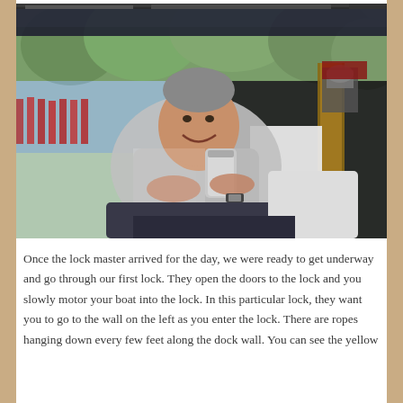[Figure (photo): Partial strip of a photo visible at the very top of the page — appears to be a dark/shadowed image, possibly a person outdoors.]
[Figure (photo): A man sitting on a boat cockpit, smiling at the camera and holding a stainless steel travel mug/thermos. He is wearing a grey t-shirt and a watch. Behind him is the boat's cabin door, wood trim, and a marina with water and trees visible in the background. The boat has a canopy overhead.]
Once the lock master arrived for the day, we were ready to get underway and go through our first lock. They open the doors to the lock and you slowly motor your boat into the lock. In this particular lock, they want you to go to the wall on the left as you enter the lock. There are ropes hanging down every few feet along the dock wall. You can see the yellow